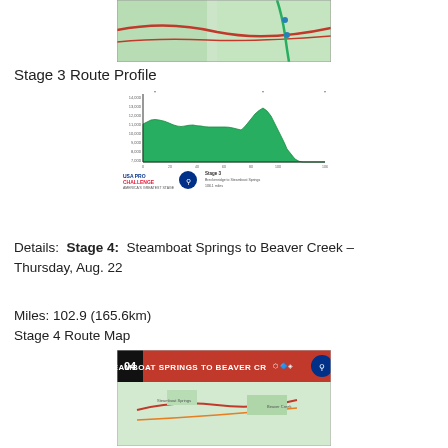[Figure (map): Stage 3 route map showing roads and terrain in Colorado area]
Stage 3 Route Profile
[Figure (area-chart): Stage 3 elevation profile from Breckenridge to Steamboat Springs, 106.1 miles, USA Pro Challenge logo]
Details:  Stage 4:  Steamboat Springs to Beaver Creek – Thursday, Aug. 22
Miles: 102.9 (165.6km)
Stage 4 Route Map
[Figure (map): Stage 4 banner and route map: Steamboat Springs to Beaver Creek]